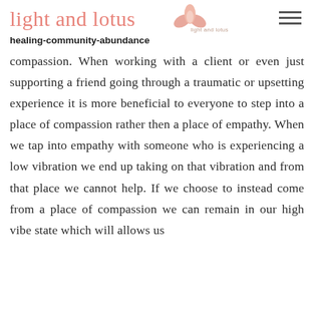light and lotus  healing-community-abundance
compassion. When working with a client or even just supporting a friend going through a traumatic or upsetting experience it is more beneficial to everyone to step into a place of compassion rather then a place of empathy. When we tap into empathy with someone who is experiencing a low vibration we end up taking on that vibration and from that place we cannot help. If we choose to instead come from a place of compassion we can remain in our high vibe state which will allows us